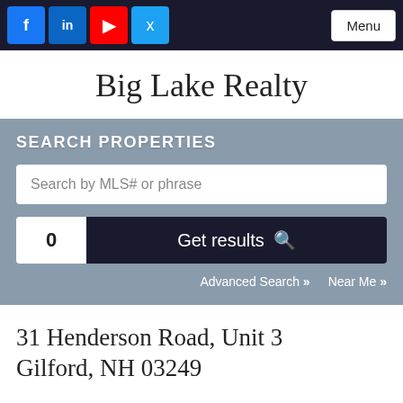Big Lake Realty - navigation bar with social icons and Menu button
Big Lake Realty
SEARCH PROPERTIES
Search by MLS# or phrase
0  Get results
Advanced Search >>   Near Me >>
31 Henderson Road, Unit 3
Gilford, NH 03249